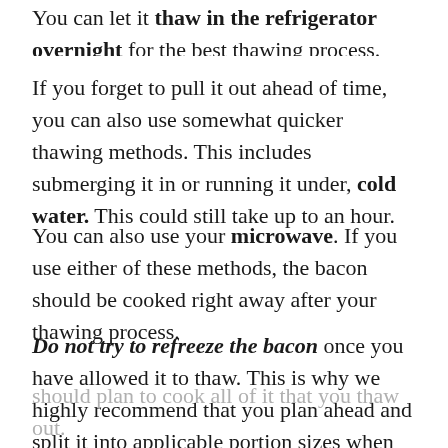You can let it thaw in the refrigerator overnight for the best thawing process.
If you forget to pull it out ahead of time, you can also use somewhat quicker thawing methods. This includes submerging it in or running it under, cold water. This could still take up to an hour.
You can also use your microwave. If you use either of these methods, the bacon should be cooked right away after your thawing process.
Do not try to refreeze the bacon once you have allowed it to thaw. This is why we highly recommend that you plan ahead and split it into applicable portion sizes when you freeze it. Otherwise, you
should plan to cook all of it that you thaw out.